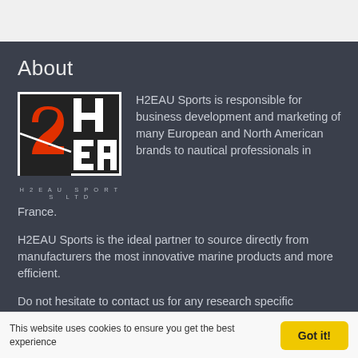About
[Figure (logo): H2EAU Sports Ltd logo — a square divided into quadrants with a large red '2' and 'H' and 'EAU' letters in black and white, with 'H2EAU SPORTS LTD' subtitle below]
H2EAU Sports is responsible for business development and marketing of many European and North American brands to nautical professionals in France.
H2EAU Sports is the ideal partner to source directly from manufacturers the most innovative marine products and more efficient.
Do not hesitate to contact us for any research specific products. We will be pleased to offer a solution tailored to your needs.
Contact >
This website uses cookies to ensure you get the best experience
Got it!